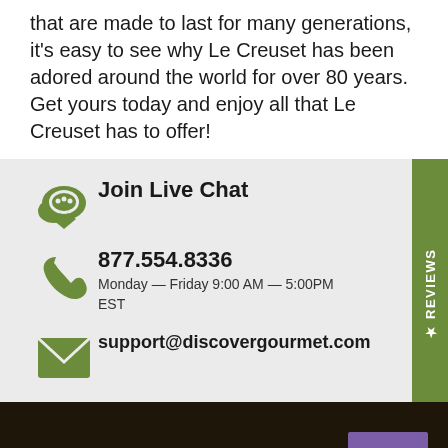that are made to last for many generations, it's easy to see why Le Creuset has been adored around the world for over 80 years. Get yours today and enjoy all that Le Creuset has to offer!
Join Live Chat
877.554.8336
Monday — Friday 9:00 AM — 5:00PM EST
support@discovergourmet.com
Get Discover Gourmet in your Inbox